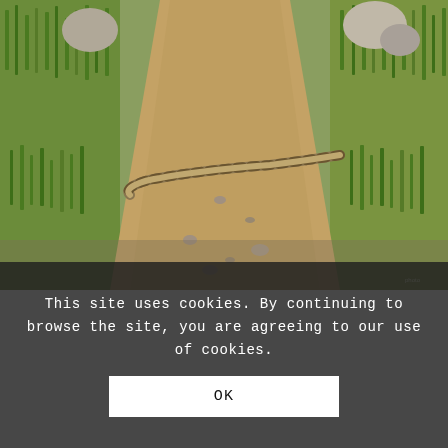[Figure (photo): Photograph of a snake (likely a rattlesnake) lying across a dirt hiking trail, surrounded by green grass and rocks under bright sunlight.]
This site uses cookies. By continuing to browse the site, you are agreeing to our use of cookies.
OK